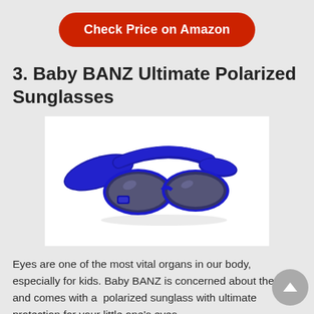Check Price on Amazon
3. Baby BANZ Ultimate Polarized Sunglasses
[Figure (photo): Blue Baby BANZ polarized sunglasses with wide neoprene strap headband, shown on white background.]
Eyes are one of the most vital organs in our body, especially for kids. Baby BANZ is concerned about the fact and comes with a  polarized sunglass with ultimate protection for your little one's eyes.